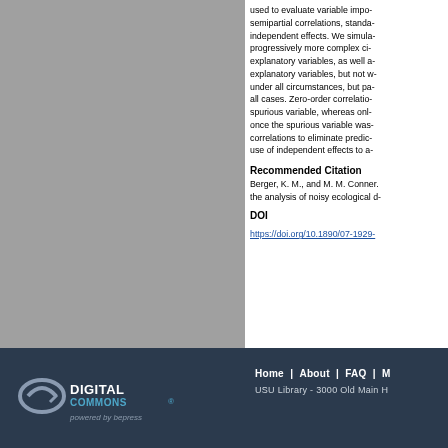[Figure (other): Gray rectangular panel on the left side of the page, likely a figure placeholder or image]
used to evaluate variable importance: zero-order correlations, semipartial correlations, standardized regression coefficients, and independent effects. We simulated multiple regression scenarios of progressively more complex circumstances: two uncorrelated explanatory variables, as well as two to three correlated explanatory variables, but not with a spurious variable. Partial R2 under all circumstances, but partial R2 was the most reliable across all cases. Zero-order correlations failed to detect a spurious variable, whereas only independent effects were reliable once the spurious variable was included. We encourage use of correlations to eliminate predictors from a model, but advocate use of independent effects to assess variable importance.
Recommended Citation
Berger, K. M., and M. M. Conner. ... the analysis of noisy ecological d...
DOI
https://doi.org/10.1890/07-1929...
Home | About | FAQ | M... USU Library - 3000 Old Main H...